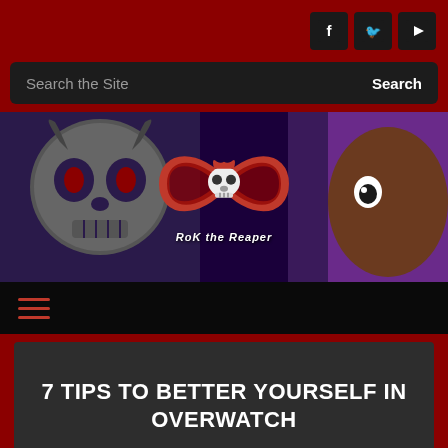[Figure (screenshot): Website header with social media icons (Facebook, Twitter, YouTube) on dark background with red background]
[Figure (screenshot): Search bar with placeholder text 'Search the Site' and Search button on dark background]
[Figure (logo): RoK the Reaper website banner with skull character on left, infinity logo with reaper skull in center and text 'RoK the Reaper', and anime character on right, purple/dark background]
[Figure (screenshot): Navigation hamburger menu with three red horizontal lines on black background]
7 TIPS TO BETTER YOURSELF IN OVERWATCH
June 28, 2016